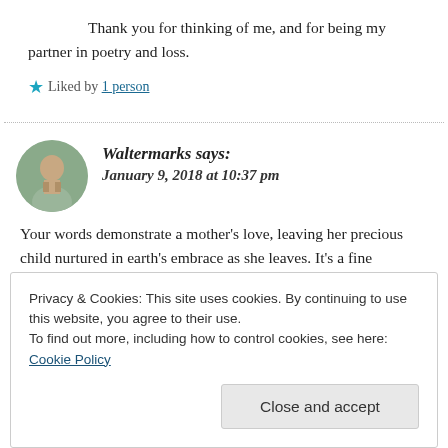Thank you for thinking of me, and for being my partner in poetry and loss.
★ Liked by 1 person
Waltermarks says: January 9, 2018 at 10:37 pm
Your words demonstrate a mother's love, leaving her precious child nurtured in earth's embrace as she leaves. It's a fine memorial to your mom!
Privacy & Cookies: This site uses cookies. By continuing to use this website, you agree to their use. To find out more, including how to control cookies, see here: Cookie Policy